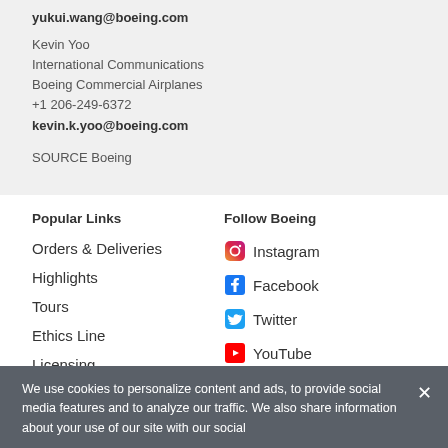yukui.wang@boeing.com
Kevin Yoo
International Communications
Boeing Commercial Airplanes
+1 206-249-6372
kevin.k.yoo@boeing.com
SOURCE Boeing
Popular Links
Follow Boeing
Orders & Deliveries
Highlights
Tours
Ethics Line
Licensing
Instagram
Facebook
Twitter
YouTube
LinkedIn
We use cookies to personalize content and ads, to provide social media features and to analyze our traffic. We also share information about your use of our site with our social